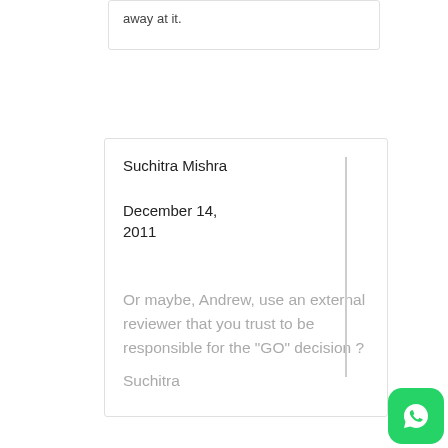away at it.
Suchitra Mishra
December 14, 2011
Or maybe, Andrew, use an external reviewer that you trust to be responsible for the "GO" decision ?
Suchitra
[Figure (logo): WhatsApp green icon with speech bubble]